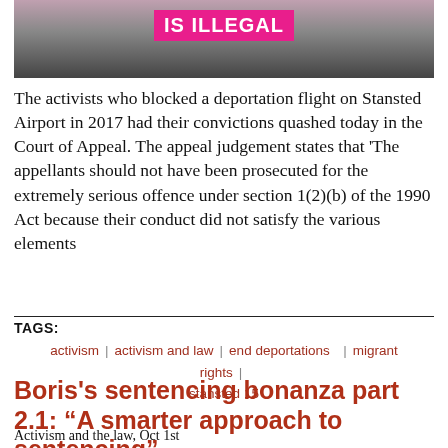[Figure (photo): Protest photo showing pink banner reading 'IS ILLEGAL' and other signs at what appears to be a demonstration, with barricades visible]
The activists who blocked a deportation flight on Stansted Airport in 2017 had their convictions quashed today in the Court of Appeal. The appeal judgement states that 'The appellants should not have been prosecuted for the extremely serious offence under section 1(2)(b) of the 1990 Act because their conduct did not satisfy the various elements
TAGS:
activism
activism and law
end deportations
migrant rights
stansted 15
Boris's sentencing bonanza part 2.1: “A smarter approach to sentencing”
Activism and the law, Oct 1st